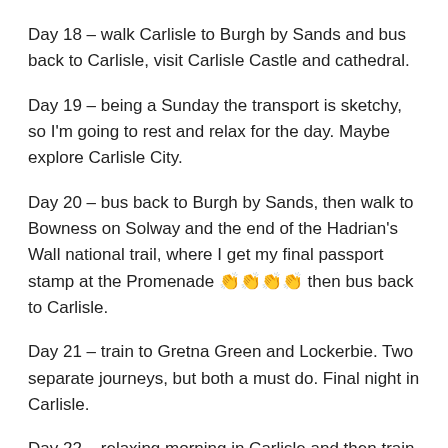Day 18 – walk Carlisle to Burgh by Sands and bus back to Carlisle, visit Carlisle Castle and cathedral.
Day 19 – being a Sunday the transport is sketchy, so I'm going to rest and relax for the day. Maybe explore Carlisle City.
Day 20 – bus back to Burgh by Sands, then walk to Bowness on Solway and the end of the Hadrian's Wall national trail, where I get my final passport stamp at the Promenade 👏👏👏👏 then bus back to Carlisle.
Day 21 – train to Gretna Green and Lockerbie. Two separate journeys, but both a must do. Final night in Carlisle.
Day 22 – relaxing morning in Carlisle and then train home.